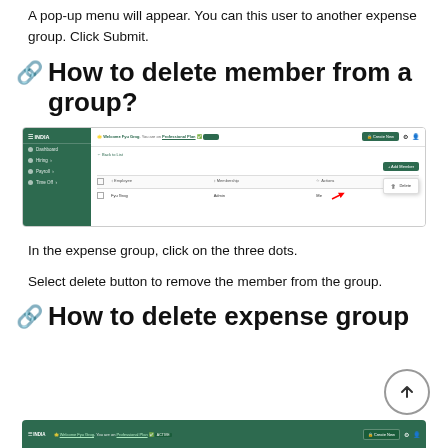A pop-up menu will appear. You can this user to another expense group. Click Submit.
How to delete member from a group?
[Figure (screenshot): Screenshot of expense group management UI showing a table with Employee, Membership columns and an Actions dropdown with a Delete option highlighted by a red arrow.]
In the expense group, click on the three dots.
Select delete button to remove the member from the group.
How to delete expense grou…
[Figure (screenshot): Partial screenshot of expense group management UI showing top navigation bar with green header.]